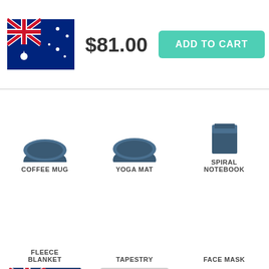[Figure (illustration): Australian flag thumbnail in top bar]
$81.00
ADD TO CART
[Figure (illustration): Coffee mug product image (partial, top cropped)]
COFFEE MUG
[Figure (illustration): Yoga mat product image (partial, top cropped)]
YOGA MAT
[Figure (illustration): Spiral notebook product image (partial, top cropped)]
SPIRAL NOTEBOOK
FLEECE BLANKET
TAPESTRY
FACE MASK
[Figure (illustration): Australian flag on jigsaw puzzle product image]
JIGSAW PUZZLE
[Figure (illustration): Australian flag sticker product image with light grey border]
STICKER
ORNAMENT